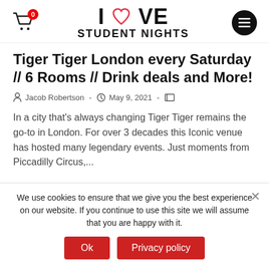I LOVE STUDENT NIGHTS
Tiger Tiger London every Saturday // 6 Rooms // Drink deals and More!
Jacob Robertson  -  May 9, 2021  -
In a city that's always changing Tiger Tiger remains the go-to in London. For over 3 decades this Iconic venue has hosted many legendary events. Just moments from Piccadilly Circus,...
We use cookies to ensure that we give you the best experience on our website. If you continue to use this site we will assume that you are happy with it.